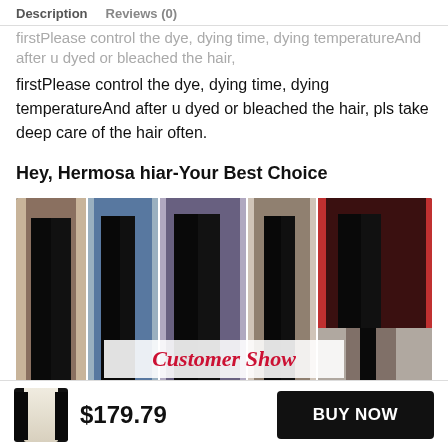Description   Reviews (0)
firstPlease control the dye, dying time, dying temperatureAnd after u dyed or bleached the hair, pls take deep care of the hair often.
Hey, Hermosa hiar-Your Best Choice
[Figure (photo): Collage of women with long straight black hair, showing Customer Show label in the center]
$179.79   BUY NOW